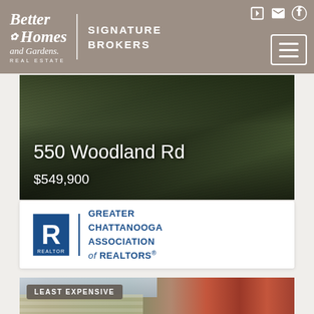Better Homes and Gardens Real Estate | SIGNATURE BROKERS
[Figure (photo): Aerial/ground view of grass lawn with property listing overlay showing address 550 Woodland Rd and price $549,900]
550 Woodland Rd
$549,900
[Figure (logo): Greater Chattanooga Association of Realtors logo with REALTOR R block mark]
[Figure (photo): Brick house exterior photo with LEAST EXPENSIVE badge overlay and chat bubble widget]